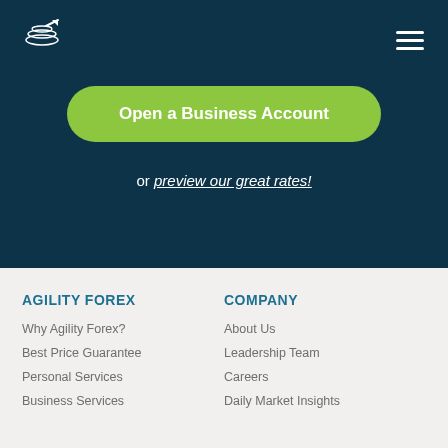[Figure (logo): Agility Forex logo: globe with arrow motif in white on dark teal background]
Open a Business Account
or preview our great rates!
AGILITY FOREX
Why Agility Forex?
Best Price Guarantee
Personal Services
Business Services
COMPANY
About Us
Leadership Team
Careers
Daily Market Insights